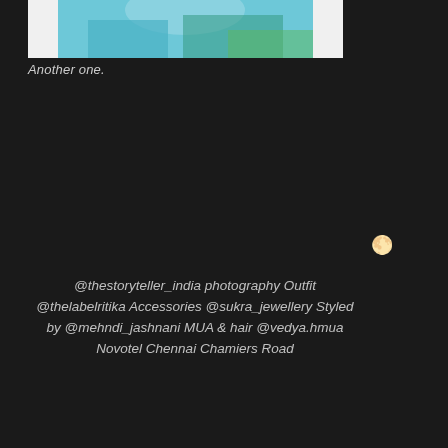[Figure (photo): Partial photo of a person in a teal/turquoise outfit outdoors, cropped at the top of the page]
Another one.
@thestoryteller_india photography Outfit @thelabelritika Accessories @sukra_jewellery Styled by @mehndi_jashnani MUA & hair @vedya.hmua Novotel Chennai Chamiers Road